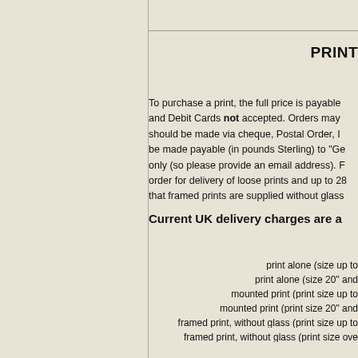PRINT
To purchase a print, the full price is payable and Debit Cards not accepted. Orders may should be made via cheque, Postal Order, I be made payable (in pounds Sterling) to "Ge only (so please provide an email address). order for delivery of loose prints and up to 2 that framed prints are supplied without glass
Current UK delivery charges are a
print alone (size up to
print alone (size 20" and
mounted print (print size up to
mounted print (print size 20" and
framed print, without glass (print size up to
framed print, without glass (print size ove